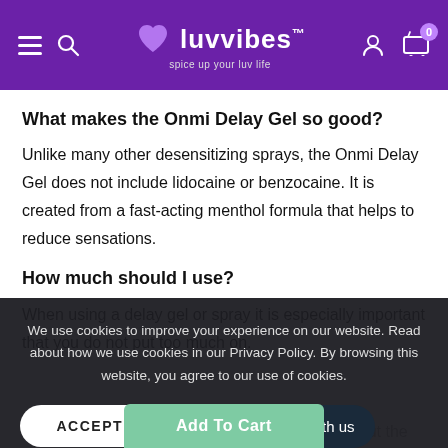luvvibes™ — spice up your luv life
What makes the Onmi Delay Gel so good?
Unlike many other desensitizing sprays, the Onmi Delay Gel does not include lidocaine or benzocaine. It is created from a fast-acting menthol formula that helps to reduce sensations.
How much should I use?
When using a delay gel or spray it is especially important that you do not put too much on.
We use cookies to improve your experience on our website. Read about how we use cookies in our Privacy Policy. By browsing this website, you agree to our use of cookies.
ACCEPT COOKIES
Chat with us
Everybody is different, so you will need to work out the perfect